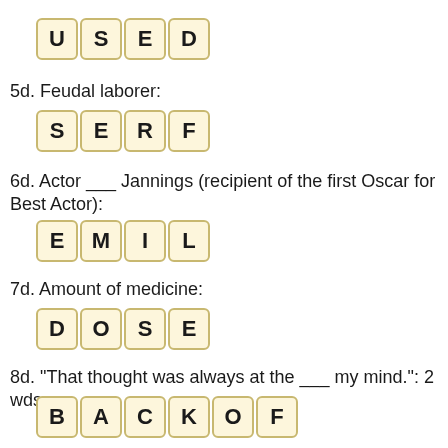[Figure (other): Letter tiles spelling USED]
5d. Feudal laborer:
[Figure (other): Letter tiles spelling SERF]
6d. Actor ___ Jannings (recipient of the first Oscar for Best Actor):
[Figure (other): Letter tiles spelling EMIL]
7d. Amount of medicine:
[Figure (other): Letter tiles spelling DOSE]
8d. "That thought was always at the ___ my mind.": 2 wds.:
[Figure (other): Letter tiles spelling BACKOF]
8a. Lost blood from an injury, say: